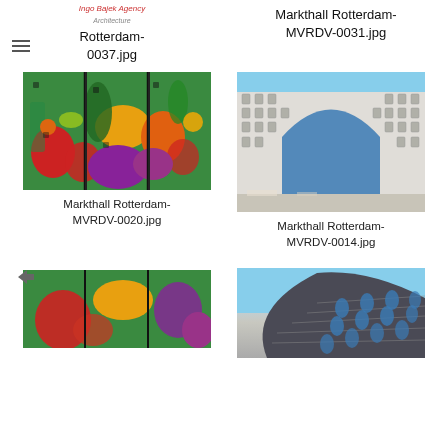Rotterdam-0037.jpg
Markthall Rotterdam-MVRDV-0031.jpg
[Figure (photo): Interior colorful fruit mural display panels side by side]
Markthall Rotterdam-MVRDV-0020.jpg
[Figure (photo): Exterior of Markthal Rotterdam white arch building against blue sky]
Markthall Rotterdam-MVRDV-0014.jpg
[Figure (photo): Partial view of colorful interior mural at Markthal Rotterdam]
[Figure (photo): Curved modern dark building facade with oval windows against blue sky]